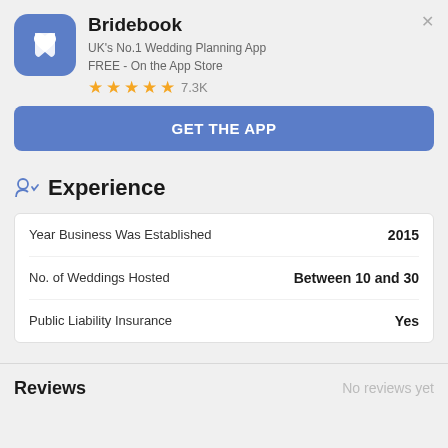[Figure (logo): Bridebook app icon - blue rounded square with white heart/bookmark shape]
Bridebook
UK's No.1 Wedding Planning App
FREE - On the App Store
[Figure (other): Five orange star rating icons followed by review count 7.3K]
GET THE APP
Experience
|  |  |
| --- | --- |
| Year Business Was Established | 2015 |
| No. of Weddings Hosted | Between 10 and 30 |
| Public Liability Insurance | Yes |
Reviews
No reviews yet